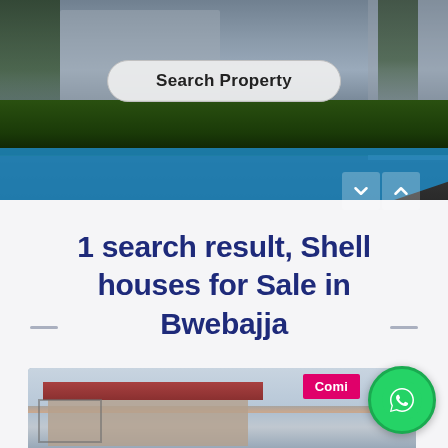[Figure (screenshot): Hero banner showing a residential building rendering with trees and grass in background, with a blue translucent ribbon and navigation chevrons]
Search Property
1 search result, Shell houses for Sale in Bwebajja
[Figure (photo): Partially constructed shell house under scaffolding with red/brown roof tiles, cloudy sky background. A pink 'Coming Soon' badge and a WhatsApp circular button overlay are visible.]